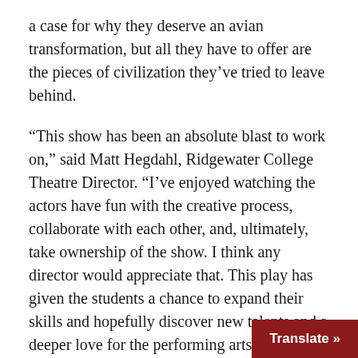a case for why they deserve an avian transformation, but all they have to offer are the pieces of civilization they've tried to leave behind.
“This show has been an absolute blast to work on,” said Matt Hegdahl, Ridgewater College Theatre Director. “I’ve enjoyed watching the actors have fun with the creative process, collaborate with each other, and, ultimately, take ownership of the show. I think any director would appreciate that. This play has given the students a chance to expand their skills and hopefully discover new talents and a deeper love for the performing arts.”
Playing the roles of Hollywood producers Matt and Dillon are Skai Heim (from Montevideo) and Hayden Saulsbury (Kensington). The chorus of birds includes Joel Bothun (Willmar), Emily Giere (Sn...
[Figure (other): A dark red 'Translate »' button overlay in the bottom-right corner of the page.]